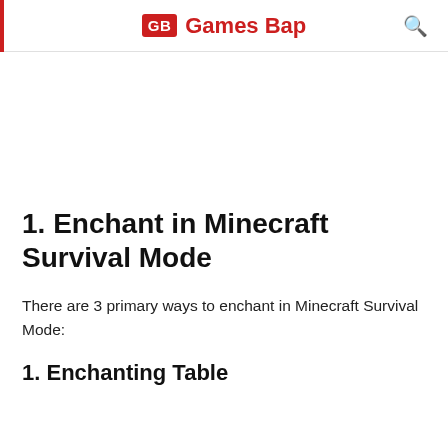GB Games Bap
1. Enchant in Minecraft Survival Mode
There are 3 primary ways to enchant in Minecraft Survival Mode:
1. Enchanting Table